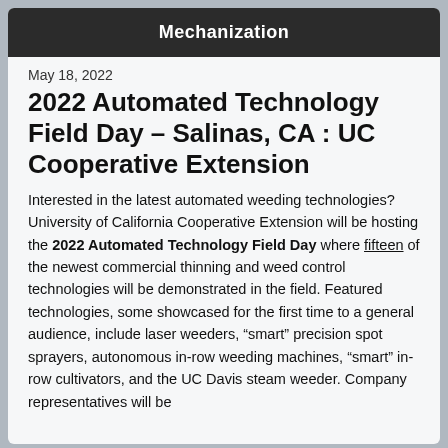Mechanization
May 18, 2022
2022 Automated Technology Field Day – Salinas, CA : UC Cooperative Extension
Interested in the latest automated weeding technologies? University of California Cooperative Extension will be hosting the 2022 Automated Technology Field Day where fifteen of the newest commercial thinning and weed control technologies will be demonstrated in the field. Featured technologies, some showcased for the first time to a general audience, include laser weeders, “smart” precision spot sprayers, autonomous in-row weeding machines, “smart” in-row cultivators, and the UC Davis steam weeder. Company representatives will be